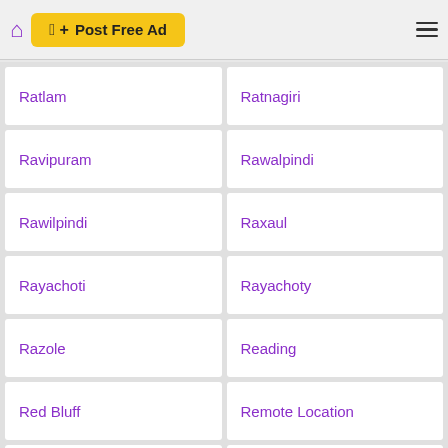Post Free Ad
Ratlam
Ratnagiri
Ravipuram
Rawalpindi
Rawilpindi
Raxaul
Rayachoti
Rayachoty
Razole
Reading
Red Bluff
Remote Location
Reno
Renton
Rewa
Rewari
Reykjavik